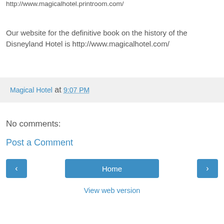http://www.magicalhotel.printroom.com/
Our website for the definitive book on the history of the Disneyland Hotel is http://www.magicalhotel.com/
Magical Hotel at 9:07 PM
No comments:
Post a Comment
Home
View web version